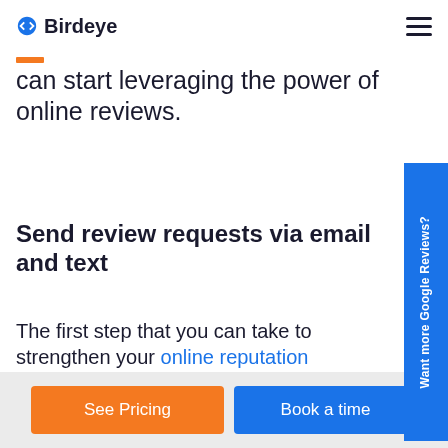Birdeye
can start leveraging the power of online reviews.
Send review requests via email and text
The first step that you can take to strengthen your online reputation
[Figure (other): Blue vertical side tab with white rotated text reading 'Want more Google Reviews?']
See Pricing
Book a time